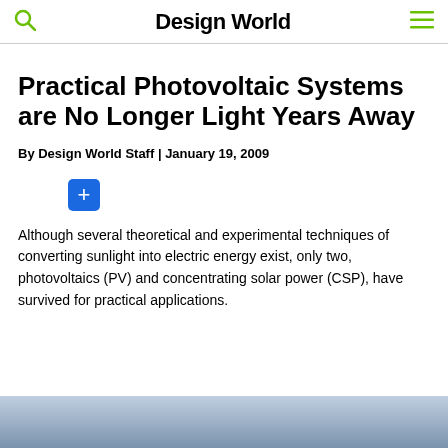Design World
Practical Photovoltaic Systems are No Longer Light Years Away
By Design World Staff | January 19, 2009
Although several theoretical and experimental techniques of converting sunlight into electric energy exist, only two, photovoltaics (PV) and concentrating solar power (CSP), have survived for practical applications.
[Figure (photo): Partial view of a blue-grey gradient image at the bottom of the page, likely a photovoltaic or solar-related photograph.]